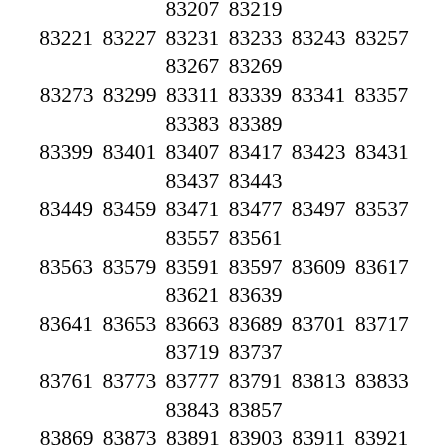82609 82613 82619 82633 82651 82657 82699 82721 82723 82727 82729 82757 82759 82763 82781 82787 82793 82799 82811 82813 82837 82847 82883 82889 82891 82903 82913 82939 82963 82981 82997 83003 83009 83023 83047 83059 83063 83071 83077 83089 83093 83101 83117 83137 83177 83203 83207 83219 83221 83227 83231 83233 83243 83257 83267 83269 83273 83299 83311 83339 83341 83357 83383 83389 83399 83401 83407 83417 83423 83431 83437 83443 83449 83459 83471 83477 83497 83537 83557 83561 83563 83579 83591 83597 83609 83617 83621 83639 83641 83653 83663 83689 83701 83717 83719 83737 83761 83773 83777 83791 83813 83833 83843 83857 83869 83873 83891 83903 83911 83921 83933 83939 83969 83983 83987 84011 84017 84047 84053 84059 84061 84067 84089 84121 84127 84131 84137 84143 84163 84179 84181 84191 84199 84211 84221 84223 84229 84239 84247 84263 84299 84307 84313 84317 84319 84347 84349 84377 84389 84391 84401 84407